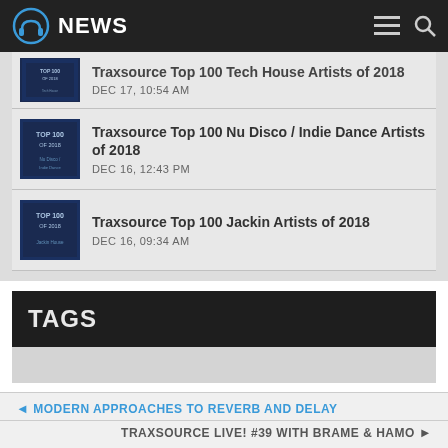NEWS
Traxsource Top 100 Tech House Artists of 2018 — DEC 17, 10:54 AM
Traxsource Top 100 Nu Disco / Indie Dance Artists of 2018 — DEC 16, 12:43 PM
Traxsource Top 100 Jackin Artists of 2018 — DEC 16, 09:34 AM
TAGS
◄ MODERN APPROACHES TO REVERB AND DELAY | TRAXSOURCE LIVE! #39 WITH BRAME & HAMO ►